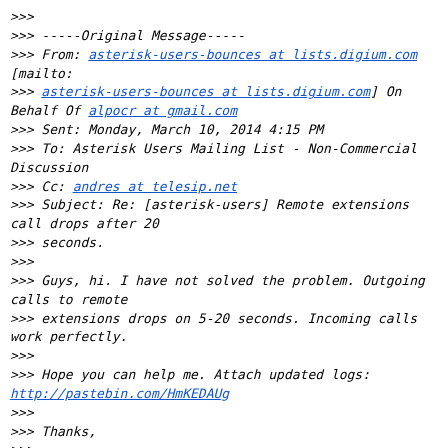>>>
>>> -----Original Message-----
>>> From: asterisk-users-bounces at lists.digium.com
[mailto:
>>> asterisk-users-bounces at lists.digium.com] On Behalf Of alpocr at gmail.com
>>> Sent: Monday, March 10, 2014 4:15 PM
>>> To: Asterisk Users Mailing List - Non-Commercial Discussion
>>> Cc: andres at telesip.net
>>> Subject: Re: [asterisk-users] Remote extensions call drops after 20
>>> seconds.
>>>
>>> Guys, hi. I have not solved the problem. Outgoing calls to remote
>>> extensions drops on 5-20 seconds. Incoming calls work perfectly.
>>>
>>> Hope you can help me. Attach updated logs:
http://pastebin.com/HmKEDAUg
>>>
>>> Thanks,
>>>
>>>
>>> On Thu, Dec 19, 2013 at 8:48 AM, Eric Wieling <EWieling at nyigc.com>
>>> wrote:
>>>
>>>